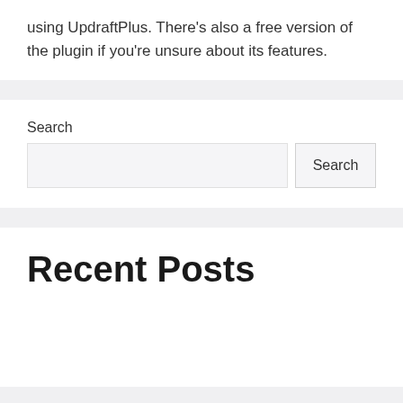using UpdraftPlus. There's also a free version of the plugin if you're unsure about its features.
Search
Recent Posts